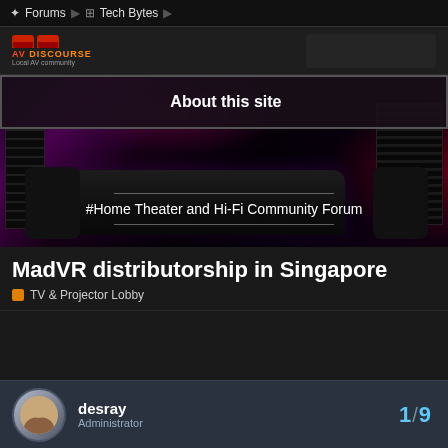Forums > Tech Bytes >
[Figure (logo): AV Discourse logo — two red seat icons, orange AV DISCOURSE text, 'Local AV community' subtext]
[Figure (photo): Home theater room with black leather couch, AV equipment stacks, purple/magenta ambient lighting, text overlay: About this site and #Home Theater and Hi-Fi Community Forum]
MadVR distributorship in Singapore
TV & Projector Lobby
desray
Administrator
1 / 9